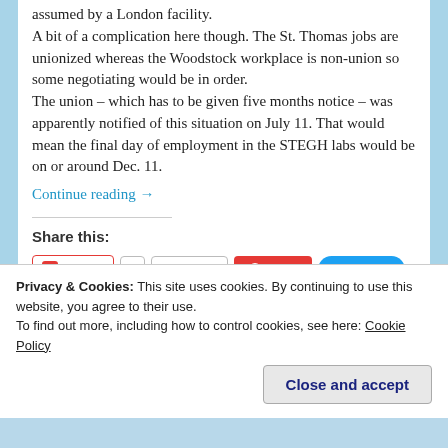assumed by a London facility. A bit of a complication here though. The St. Thomas jobs are unionized whereas the Woodstock workplace is non-union so some negotiating would be in order. The union – which has to be given five months notice – was apparently notified of this situation on July 11. That would mean the final day of employment in the STEGH labs would be on or around Dec. 11.
Continue reading →
Share this:
[Figure (screenshot): Social sharing buttons: Pocket (0), Email, Save (Pinterest), Tweet, LinkedIn Share, Tumblr Post, Print]
Privacy & Cookies: This site uses cookies. By continuing to use this website, you agree to their use.
To find out more, including how to control cookies, see here: Cookie Policy
Close and accept